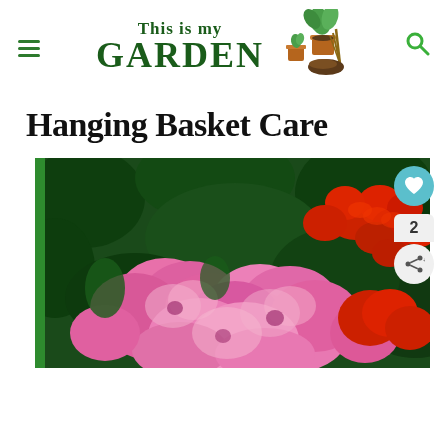This is my Garden
Hanging Basket Care
[Figure (photo): Close-up photo of pink and red begonia flowers in a hanging basket, with dark green foliage background. Green sidebar bar on left edge. Heart/like button (teal circle) top right, share count '2' and share button below it.]